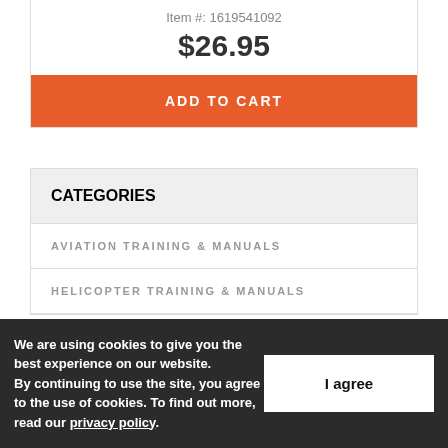Item #: 1619541092
$26.95
ADD TO CART
CATEGORIES
AVIATION TRAINING & MANUALS
HELICOPTER TRAINING & MANUALS
We are using cookies to give you the best experience on our website. By continuing to use the site, you agree to the use of cookies. To find out more, read our privacy policy.
I agree